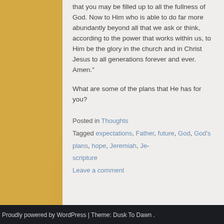that you may be filled up to all the fullness of God. Now to Him who is able to do far more abundantly beyond all that we ask or think, according to the power that works within us, to Him be the glory in the church and in Christ Jesus to all generations forever and ever. Amen."
What are some of the plans that He has for you?
Posted in Thoughts
Tagged expectations, Father, future, God, God's plans, hope, Jeremiah, Je… scripture
Leave a comment
Proudly powered by WordPress | Theme: Dusk To Dawn .